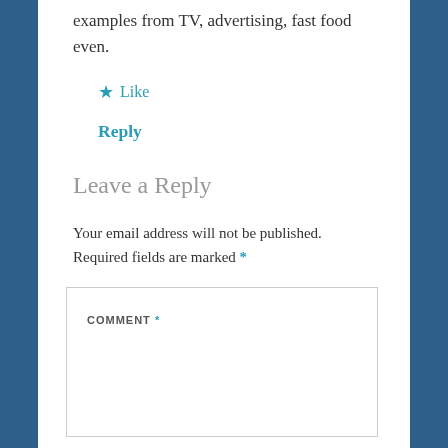examples from TV, advertising, fast food even.
★ Like
Reply
Leave a Reply
Your email address will not be published. Required fields are marked *
COMMENT *